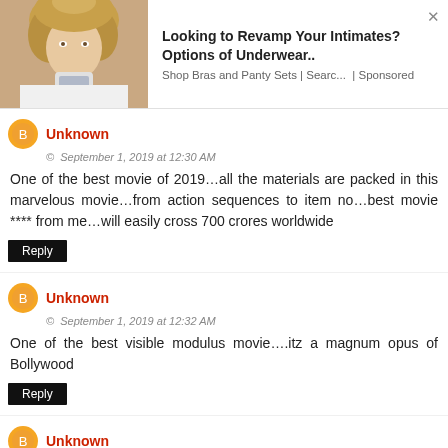[Figure (screenshot): Advertisement banner with a woman's photo on the left and text 'Looking to Revamp Your Intimates? Options of Underwear.. Shop Bras and Panty Sets | Searc... | Sponsored']
Unknown
© September 1, 2019 at 12:30 AM
One of the best movie of 2019…all the materials are packed in this marvelous movie…from action sequences to item no…best movie **** from me…will easily cross 700 crores worldwide
Reply
Unknown
© September 1, 2019 at 12:32 AM
One of the best visible modulus movie….itz a magnum opus of Bollywood
Reply
Unknown
© September 1, 2019 at 12:35 AM